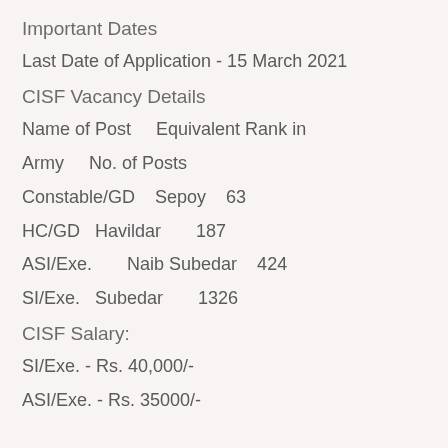Important Dates
Last Date of Application - 15 March 2021
CISF Vacancy Details
Name of Post    Equivalent Rank in Army    No. of Posts
Constable/GD   Sepoy   63
HC/GD  Havildar      187
ASI/Exe.      Naib Subedar   424
SI/Exe.  Subedar      1326
CISF Salary:
SI/Exe. - Rs. 40,000/-
ASI/Exe. - Rs. 35000/-